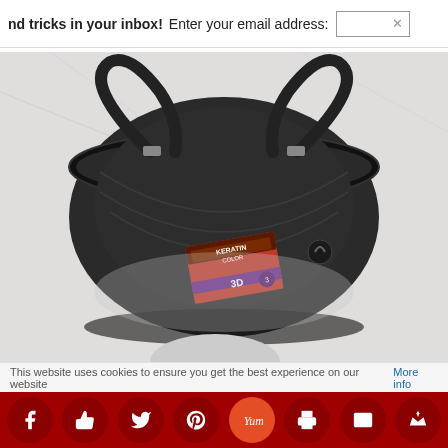nd tricks in your inbox!  Enter your email address:
[Figure (photo): Open black handbag/purse viewed from above on marble surface, containing a Keratin Color 3D hair color box]
I took some before/after pics to see the difference.
This website uses cookies to ensure you get the best experience on our website More info
Social sharing icons: Facebook, Like, Twitter, Pinterest, Yummly, Print, Email, Crown